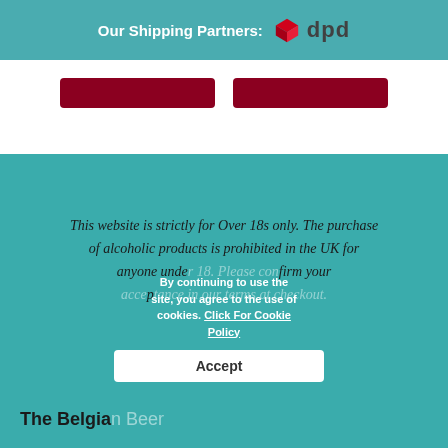Our Shipping Partners: dpd
[Figure (logo): DPD shipping partner logo with red 3D box icon and 'dpd' wordmark in dark grey]
This website is strictly for Over 18s only. The purchase of alcoholic products is prohibited in the UK for anyone under 18. Please confirm your acceptance in our terms at checkout.
By continuing to use the site, you agree to the use of cookies. Click For Cookie Policy
Accept
The Belgian Beer